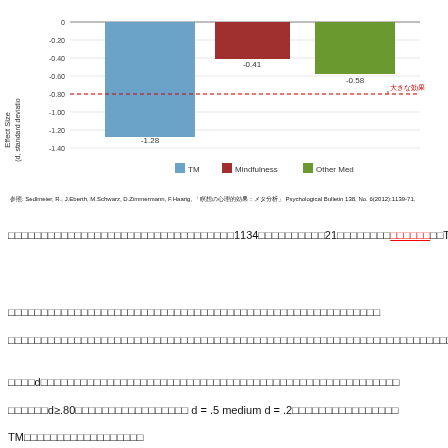[Figure (bar-chart): Effect Size (d, standard deviations)]
参照: Sedlmeier, R., J.Eberth, M.Schwarz, D.Zimmermann, F.Haarig, 「瞑想の心理的効果：メタ分析」 Psychological Bulletin 138, No. 6(2012):1139-71.
この研究は、合計1134の研究から選ばれた21の研究から行われた研究で、TMの瞑想は、ストレス、不安、否定的な感情、神経症的傾向を軽減し、学習、記憶、自己実現、創造性、ポジティブな感情を高めるという結果が示されました。
瞑想技法が心理的に有益であることに同意するが、マインドフルネスよりもTMの方が効果が高い。
TM瞑想はマインドフルネスや他の瞑想技術よりも，心理的な幸福のほぼすべての尺度でより大きな効果をもたらしました。
効果量dはコーエン基準 d=.80以上が大きな効果とされています。d = .5 medium d = .2小さなを示します。
TMは最大の効果をもたらしました。